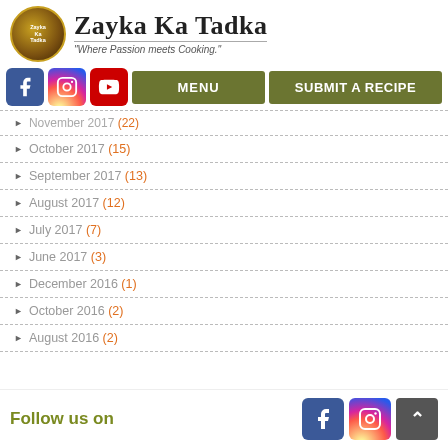Zayka Ka Tadka — "Where Passion meets Cooking."
November 2017 (22)
October 2017 (15)
September 2017 (13)
August 2017 (12)
July 2017 (7)
June 2017 (3)
December 2016 (1)
October 2016 (2)
August 2016 (2)
Follow us on